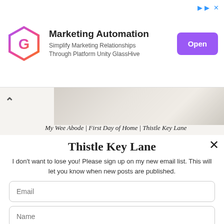[Figure (screenshot): Ad banner for GlassHive Marketing Automation with hexagon logo, tagline, and purple Open button]
[Figure (screenshot): Blog header strip showing 'My Wee Abode | First Day of Home | Thistle Key Lane' navigation in italic serif font with a folded paper background image]
Thistle Key Lane
I don't want to lose you! Please sign up on my new email list. This will let you know when new posts are published.
Email
Name
Opt in to receive news and updates.
SUBSCRIBE